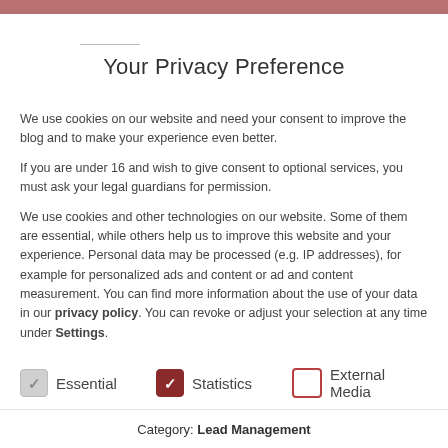Your Privacy Preference
We use cookies on our website and need your consent to improve the blog and to make your experience even better.
If you are under 16 and wish to give consent to optional services, you must ask your legal guardians for permission.
We use cookies and other technologies on our website. Some of them are essential, while others help us to improve this website and your experience. Personal data may be processed (e.g. IP addresses), for example for personalized ads and content or ad and content measurement. You can find more information about the use of your data in our privacy policy. You can revoke or adjust your selection at any time under Settings.
Essential
Statistics
External Media
Category: Lead Management